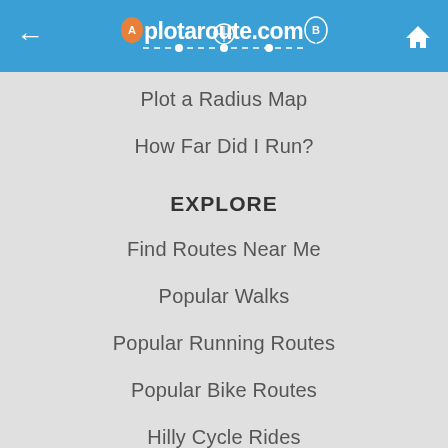plotaroute.com
Plot a Radius Map
How Far Did I Run?
EXPLORE
Find Routes Near Me
Popular Walks
Popular Running Routes
Popular Bike Routes
Hilly Cycle Rides
5K Running Routes
Voice Navigation
Search the Website